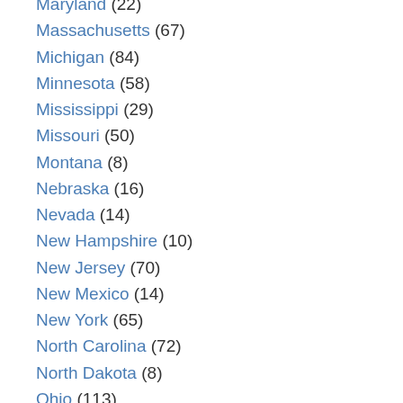Maryland (22)
Massachusetts (67)
Michigan (84)
Minnesota (58)
Mississippi (29)
Missouri (50)
Montana (8)
Nebraska (16)
Nevada (14)
New Hampshire (10)
New Jersey (70)
New Mexico (14)
New York (65)
North Carolina (72)
North Dakota (8)
Ohio (113)
Oklahoma (38)
Oregon (39)
Pennsylvania (40)
Rhode Island (14)
South Carolina (27)